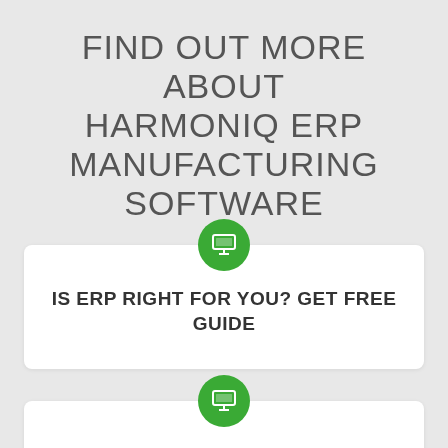FIND OUT MORE ABOUT HARMONIQ ERP MANUFACTURING SOFTWARE
[Figure (infographic): Green circular icon with a monitor/screen symbol, positioned above a white card]
IS ERP RIGHT FOR YOU? GET FREE GUIDE
[Figure (infographic): Green circular icon with a monitor/screen symbol, positioned above a second white card (partially visible)]